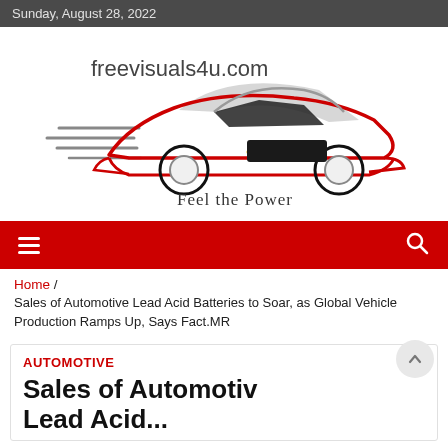Sunday, August 28, 2022
[Figure (logo): freevisuals4u.com logo with a stylized sports car in red, gray, black and yellow lines, and tagline 'Feel the Power']
Navigation bar with hamburger menu and search icon
Home / Sales of Automotive Lead Acid Batteries to Soar, as Global Vehicle Production Ramps Up, Says Fact.MR
AUTOMOTIVE
Sales of Automotive Lead Acid...